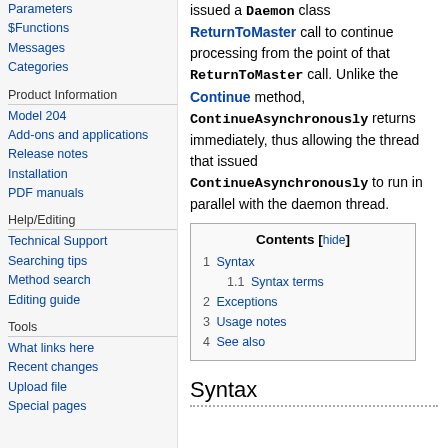Parameters
$Functions
Messages
Categories
Product Information
Model 204
Add-ons and applications
Release notes
Installation
PDF manuals
Help/Editing
Technical Support
Searching tips
Method search
Editing guide
Tools
What links here
Recent changes
Upload file
Special pages
issued a Daemon class ReturnToMaster call to continue processing from the point of that ReturnToMaster call. Unlike the Continue method, ContinueAsynchronously returns immediately, thus allowing the thread that issued ContinueAsynchronously to run in parallel with the daemon thread.
| Contents [hide] |
| --- |
| 1 Syntax |
| 1.1 Syntax terms |
| 2 Exceptions |
| 3 Usage notes |
| 4 See also |
Syntax